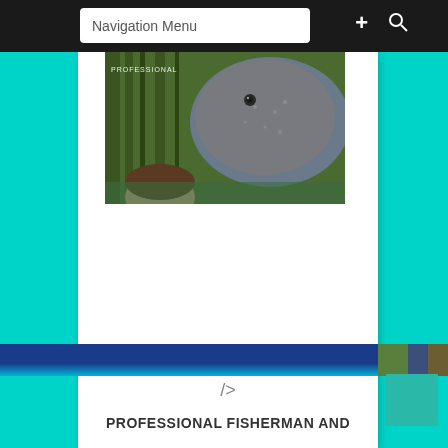Navigation Menu
[Figure (photo): A person and a large fish or manatee in water with reeds in background, with text 'PROFESSIONAL' watermark overlay]
/>
PROFESSIONAL FISHERMAN AND